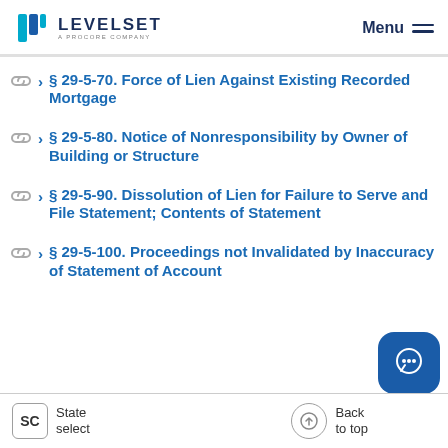LEVELSET A PROCORE COMPANY | Menu
§ 29-5-70. Force of Lien Against Existing Recorded Mortgage
§ 29-5-80. Notice of Nonresponsibility by Owner of Building or Structure
§ 29-5-90. Dissolution of Lien for Failure to Serve and File Statement; Contents of Statement
§ 29-5-100. Proceedings not Invalidated by Inaccuracy of Statement of Account
SC State select | Back to top